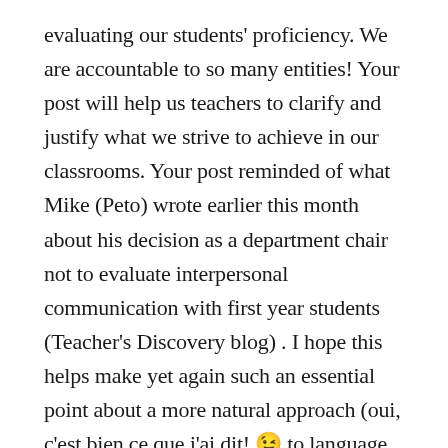evaluating our students' proficiency. We are accountable to so many entities! Your post will help us teachers to clarify and justify what we strive to achieve in our classrooms. Your post reminded of what Mike (Peto) wrote earlier this month about his decision as a department chair not to evaluate interpersonal communication with first year students (Teacher's Discovery blog) . I hope this helps make yet again such an essential point about a more natural approach (oui, c'est bien ce que j'ai dit! 😉 to language learning. Merci pour cet article plus qu'essentiel. Je le copie et le partage